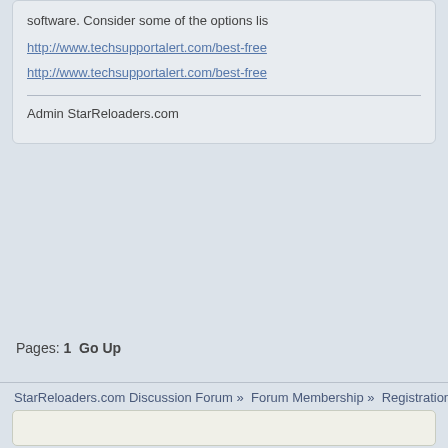software. Consider some of the options lis
http://www.techsupportalert.com/best-free
http://www.techsupportalert.com/best-free
Admin StarReloaders.com
Pages: 1   Go Up
StarReloaders.com Discussion Forum » Forum Membership » Registration/Membership
SMF 2.0.17 | SMF © 2019, Simple M
XHTML   RSS   WAP2
Page created in 0.205 seconds with